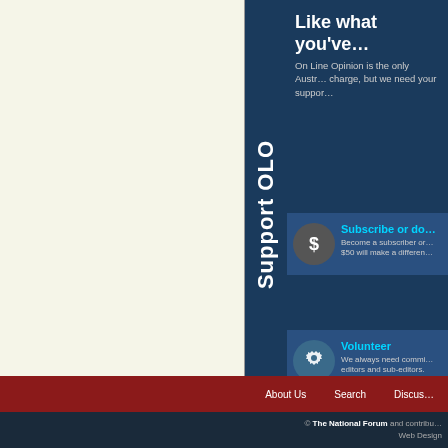About the A…
Andrew D… Economi… High Cou… (Washing… His books includ… (2014).
Other articles by thi…
Why the NRA…
Culture must f…
Collaborative c…
Carbon price b…
Shooting dow…
All articles by An…
Like what you've…
On Line Opinion is the only Austr… charge, but we need your suppor…
Subscribe or do…
Become a subscriber or… $50 will make a differen…
Volunteer
We always need commi… editors and sub-editors.
About Us   Search   Discus…
© The National Forum and contribu… Web Design